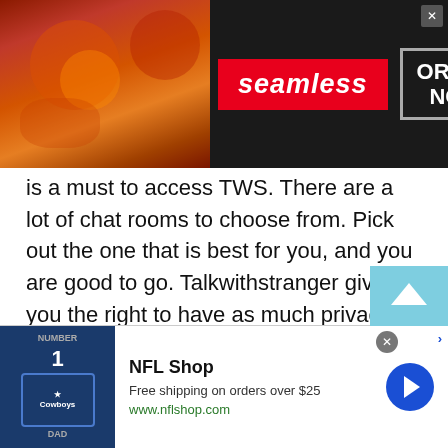[Figure (screenshot): Seamless food delivery advertisement banner with pizza image on left, Seamless logo in red, and ORDER NOW button in dark box]
is a must to access TWS. There are a lot of chat rooms to choose from. Pick out the one that is best for you, and you are good to go. Talkwithstranger gives you the right to have as much privacy as you like.  your information is secure and it will not be lit anywhere. You don't need to reveal any personal information to become part of the chatting community. Your information is completely safe on talk with stranger and unlike the scam websites, this is genuine and very entertaining. Just choose a nickname, and you are connected to the Kenyan Phone Chat line. Say goodbye to boredom and enjoy all the features the
[Figure (screenshot): NFL Shop advertisement with jersey image, Free shipping on orders over $25, www.nflshop.com, and blue circular arrow button]